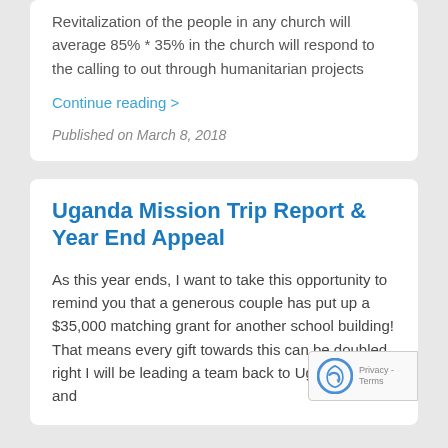Revitalization of the people in any church will average 85% * 35% in the church will respond to the calling to out through humanitarian projects
Continue reading >
Published on March 8, 2018
Uganda Mission Trip Report & Year End Appeal
As this year ends, I want to take this opportunity to remind you that a generous couple has put up a $35,000 matching grant for another school building! That means every gift towards this can be doubled right I will be leading a team back to Uganda in July and